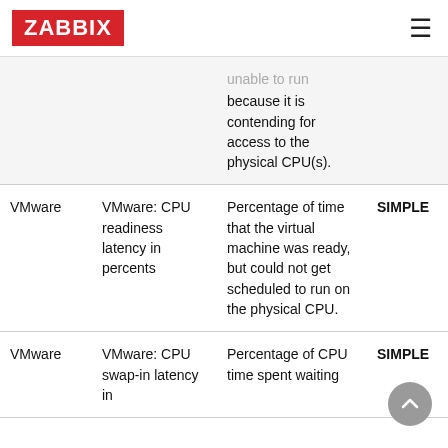ZABBIX
|  |  | unable to run because it is contending for access to the physical CPU(s). | SIMPLE | vm...{$V... |
| --- | --- | --- | --- | --- |
| VMware | VMware: CPU readiness latency in percents | Percentage of time that the virtual machine was ready, but could not get scheduled to run on the physical CPU. | SIMPLE | vm
{$V |
| VMware | VMware: CPU swap-in latency in | Percentage of CPU time spent waiting | SIMPLE | vm
{$V |